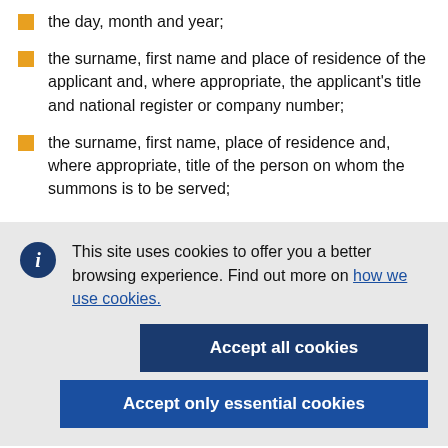the day, month and year;
the surname, first name and place of residence of the applicant and, where appropriate, the applicant's title and national register or company number;
the surname, first name, place of residence and, where appropriate, title of the person on whom the summons is to be served;
This site uses cookies to offer you a better browsing experience. Find out more on how we use cookies.
Accept all cookies
Accept only essential cookies